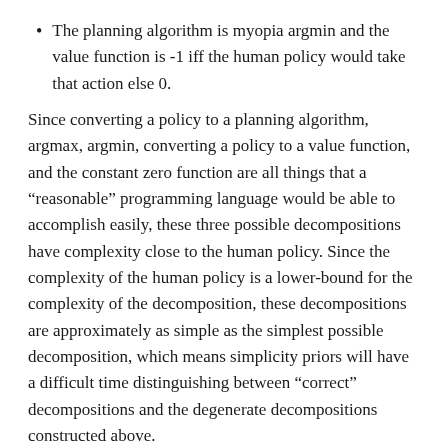The planning algorithm is myopia argmin and the value function is -1 iff the human policy would take that action else 0.
Since converting a policy to a planning algorithm, argmax, argmin, converting a policy to a value function, and the constant zero function are all things that a “reasonable” programming language would be able to accomplish easily, these three possible decompositions have complexity close to the human policy. Since the complexity of the human policy is a lower-bound for the complexity of the decomposition, these decompositions are approximately as simple as the simplest possible decomposition, which means simplicity priors will have a difficult time distinguishing between “correct” decompositions and the degenerate decompositions constructed above.
Finally, the authors argue that the “real” decomposition of